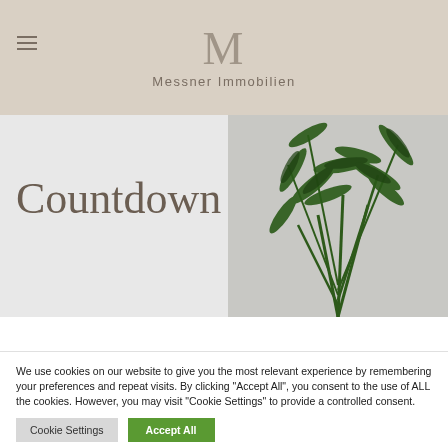Messner Immobilien
[Figure (photo): Hero section with large text 'Countdown' overlaid on a light grey background with a tall green tropical plant on the right side]
Countdown
We use cookies on our website to give you the most relevant experience by remembering your preferences and repeat visits. By clicking "Accept All", you consent to the use of ALL the cookies. However, you may visit "Cookie Settings" to provide a controlled consent.
Cookie Settings | Accept All